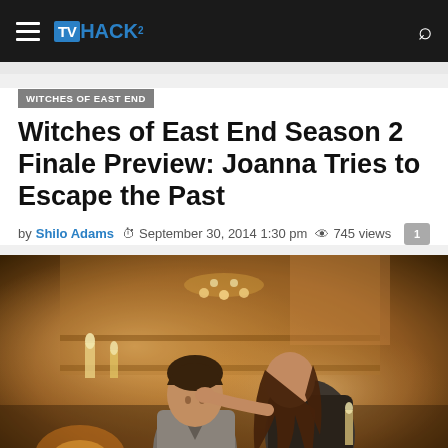TVHACK — navigation bar with hamburger menu and search icon
WITCHES OF EAST END
Witches of East End Season 2 Finale Preview: Joanna Tries to Escape the Past
by Shilo Adams  September 30, 2014 1:30 pm  745 views  1
[Figure (photo): A man and woman in a candlelit room; the woman leans toward the seated man touching his face, warm amber lighting with candles and decorative wall hangings in background.]